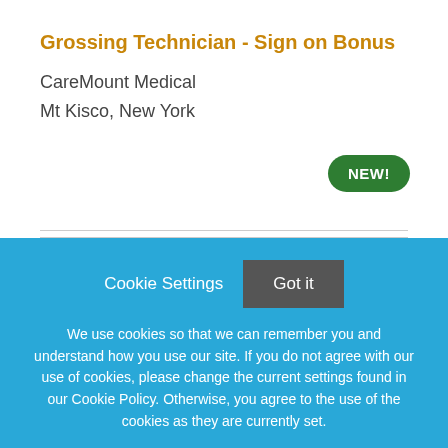Grossing Technician - Sign on Bonus
CareMount Medical
Mt Kisco, New York
NEW!
Cookie Settings
Got it
We use cookies so that we can remember you and understand how you use our site. If you do not agree with our use of cookies, please change the current settings found in our Cookie Policy. Otherwise, you agree to the use of the cookies as they are currently set.